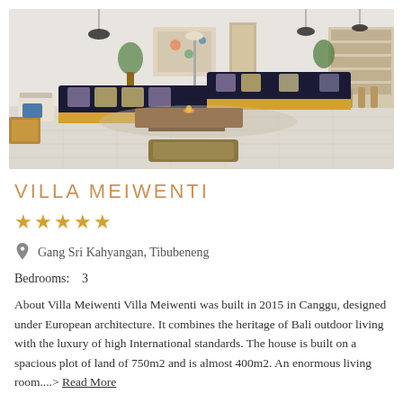[Figure (photo): Interior photo of Villa Meiwenti showing a large open-plan living room with low dark sofas with yellow bases arranged in an L-shape, a wooden coffee table with a small fire feature, floor cushions, pendant lights, and shelving on the right side. The space has a light stone floor and high ceilings.]
VILLA MEIWENTI
★★★★★
Gang Sri Kahyangan, Tibubeneng
Bedrooms:   3
About Villa Meiwenti Villa Meiwenti was built in 2015 in Canggu, designed under European architecture. It combines the heritage of Bali outdoor living with the luxury of high International standards. The house is built on a spacious plot of land of 750m2 and is almost 400m2. An enormous living room....> Read More